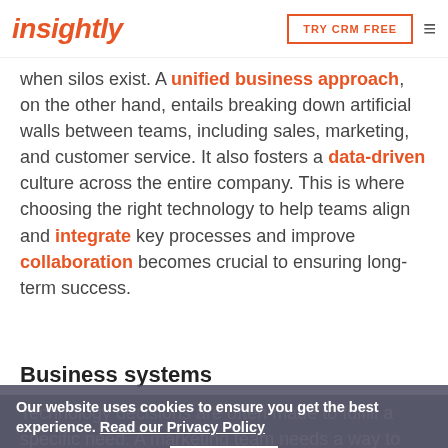insightly | TRY CRM FREE
when silos exist. A unified business approach, on the other hand, entails breaking down artificial walls between teams, including sales, marketing, and customer service. It also fosters a data-driven culture across the entire company. This is where choosing the right technology to help teams align and integrate key processes and improve collaboration becomes crucial to ensuring long-term success.
Business systems
Technology decisions are often made to fulfill a specific need. A marketing team needs a way to send out special offers, so they implement an email marketing system. An operations team needs a way to manage to-dos and due dates, so they begin using a
Our website uses cookies to ensure you get the best experience. Read our Privacy Policy
Got it!